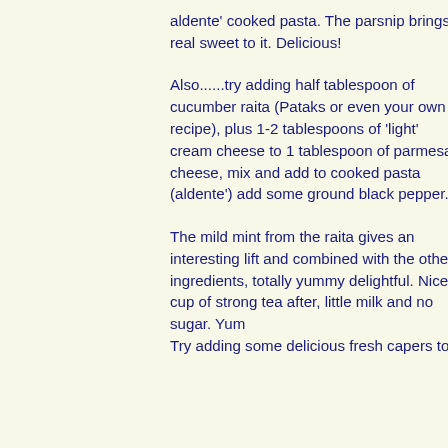aldente' cooked pasta. The parsnip brings a real sweet to it. Delicious!
Also......try adding half tablespoon of cucumber raita (Pataks or even your own recipe), plus 1-2 tablespoons of 'light' cream cheese to 1 tablespoon of parmesan cheese, mix and add to cooked pasta (aldente') add some ground black pepper.
The mild mint from the raita gives an interesting lift and combined with the other ingredients, totally yummy delightful. Nice cup of strong tea after, little milk and no sugar. Yum
Try adding some delicious fresh capers too.